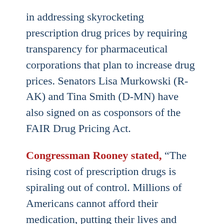in addressing skyrocketing prescription drug prices by requiring transparency for pharmaceutical corporations that plan to increase drug prices. Senators Lisa Murkowski (R-AK) and Tina Smith (D-MN) have also signed on as cosponsors of the FAIR Drug Pricing Act.
Congressman Rooney stated, “The rising cost of prescription drugs is spiraling out of control. Millions of Americans cannot afford their medication, putting their lives and health at risk, and costing taxpayers billions in Medicare costs. Prices must be lowered, and access to